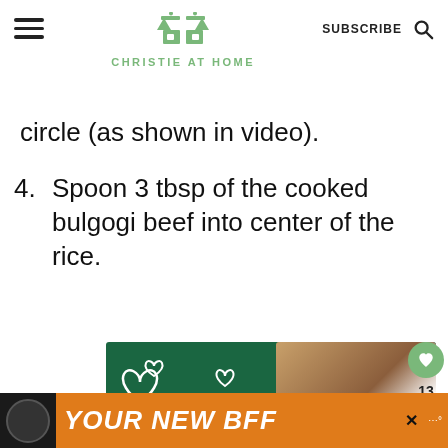CHRISTIE AT HOME
circle (as shown in video).
4. Spoon 3 tbsp of the cooked bulgogi beef into center of the rice.
[Figure (photo): Advertisement banner: green background with dog photo, text says FOSTER ADOPT RESCUE with heart icons]
[Figure (photo): Bottom advertisement banner: orange background with dog photo, text says YOUR NEW BFF]